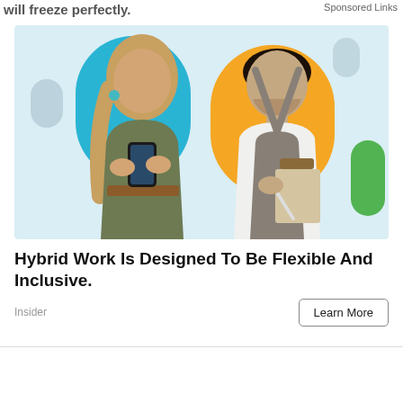will freeze perfectly.
Sponsored Links
[Figure (photo): Advertisement image showing two people: a woman in a green blouse looking at her phone (left, against a cyan arch background) and a man in a white t-shirt with a grey apron writing on a clipboard (right, against an orange arch background), on a light blue background with decorative shapes.]
Hybrid Work Is Designed To Be Flexible And Inclusive.
Insider
Learn More